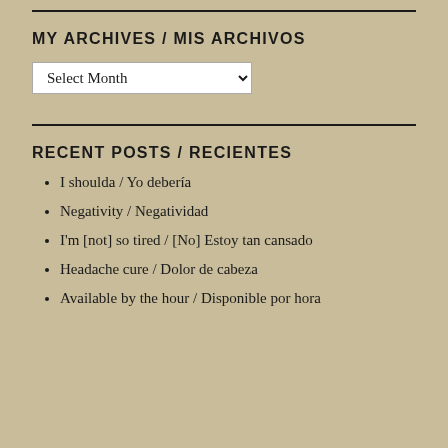MY ARCHIVES / MIS ARCHIVOS
Select Month
RECENT POSTS / RECIENTES
I shoulda / Yo debería
Negativity / Negatividad
I'm [not] so tired / [No] Estoy tan cansado
Headache cure / Dolor de cabeza
Available by the hour / Disponible por hora